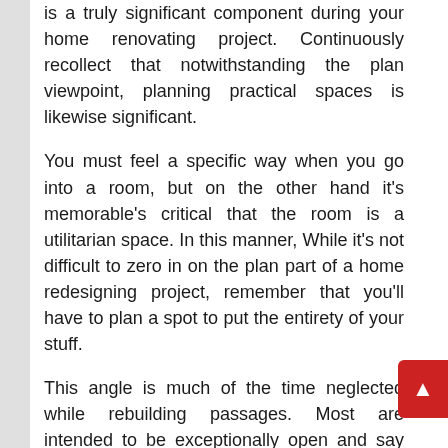is a truly significant component during your home renovating project. Continuously recollect that notwithstanding the plan viewpoint, planning practical spaces is likewise significant.
You must feel a specific way when you go into a room, but on the other hand it's memorable's critical that the room is a utilitarian space. In this manner, While it's not difficult to zero in on the plan part of a home redesigning project, remember that you'll have to plan a spot to put the entirety of your stuff.
This angle is much of the time neglected while rebuilding passages. Most are intended to be exceptionally open and say something, however individuals will generally fail to remember that the doorway is the most